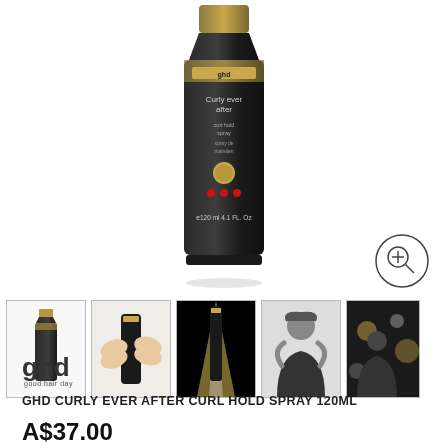[Figure (photo): GHD Curly Ever After curl hold spray product bottle, black and gold, 120ml]
[Figure (photo): Five product thumbnail images: spray bottle, hands holding styling tool, dark dramatic product shot, woman styling hair, person in salon]
[Figure (logo): GHD good hair day brand logo in dark grey]
GHD CURLY EVER AFTER CURL HOLD SPRAY 120ML
A$37.00